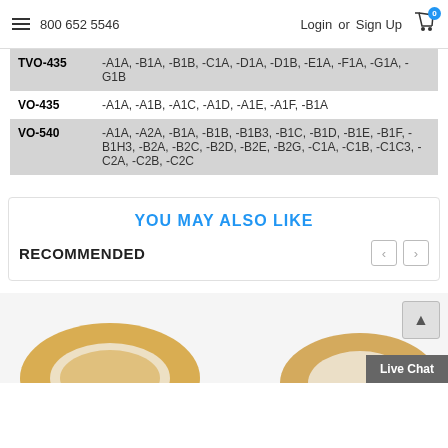800 652 5546  Login or Sign Up  0
| Model | Variants |
| --- | --- |
| TVO-435 | -A1A, -B1A, -B1B, -C1A, -D1A, -D1B, -E1A, -F1A, -G1A, -G1B |
| VO-435 | -A1A, -A1B, -A1C, -A1D, -A1E, -A1F, -B1A |
| VO-540 | -A1A, -A2A, -B1A, -B1B, -B1B3, -B1C, -B1D, -B1E, -B1F, -B1H3, -B2A, -B2C, -B2D, -B2E, -B2G, -C1A, -C1B, -C1C3, -C2A, -C2B, -C2C |
YOU MAY ALSO LIKE
RECOMMENDED
[Figure (photo): Partial view of two gasket products at the bottom of the page]
Live Chat